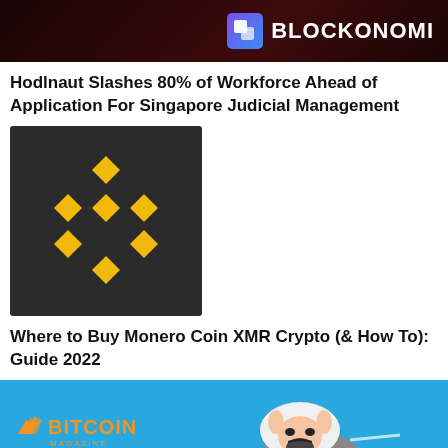BLOCKONOMI
Hodlnaut Slashes 80% of Workforce Ahead of Application For Singapore Judicial Management
[Figure (logo): Binance logo - golden diamond/chevron symbol on dark background]
Where to Buy Monero Coin XMR Crypto (& How To): Guide 2022
[Figure (illustration): Bitcoin Magazine banner with blue background showing a cartoon wolf in sheep's clothing illustration]